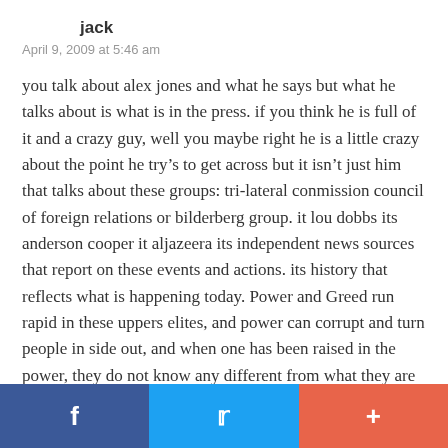jack
April 9, 2009 at 5:46 am
you talk about alex jones and what he says but what he talks about is what is in the press. if you think he is full of it and a crazy guy, well you maybe right he is a little crazy about the point he try’s to get across but it isn’t just him that talks about these groups: tri-lateral conmission council of foreign relations or bilderberg group. it lou dobbs its anderson cooper it aljazeera its independent news sources that report on these events and actions. its history that reflects what is happening today. Power and Greed run rapid in these uppers elites, and power can corrupt and turn people in side out, and when one has been raised in the power, they do not know any different from what they are taught which is they are better